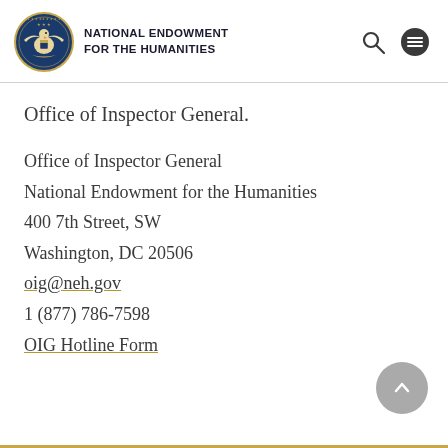NATIONAL ENDOWMENT FOR THE HUMANITIES
Office of Inspector General.
Office of Inspector General
National Endowment for the Humanities
400 7th Street, SW
Washington, DC 20506
oig@neh.gov
1 (877) 786-7598
OIG Hotline Form